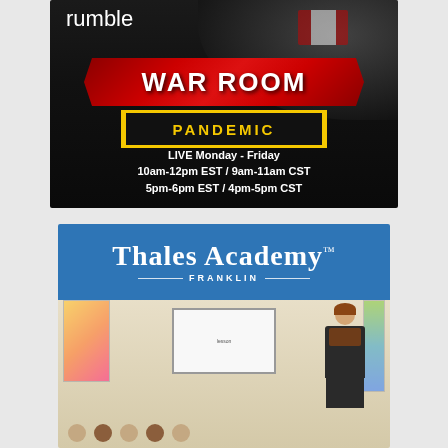[Figure (photo): Rumble War Room Pandemic advertisement. Shows the Rumble logo at top left, a blurred face and Canadian flag in background, a red arrow-shaped badge reading WAR ROOM, a yellow-bordered black badge reading PANDEMIC, and white text showing broadcast schedule: LIVE Monday - Friday, 10am-12pm EST / 9am-11am CST, 5pm-6pm EST / 4pm-5pm CST]
[Figure (photo): Thales Academy Franklin advertisement. Blue banner header with the Thales Academy logo in white serif font with trademark symbol, FRANKLIN subtitle with decorative lines. Below is a classroom scene showing a female teacher pointing at a whiteboard, with students seated in foreground and colorful bulletin boards on walls.]